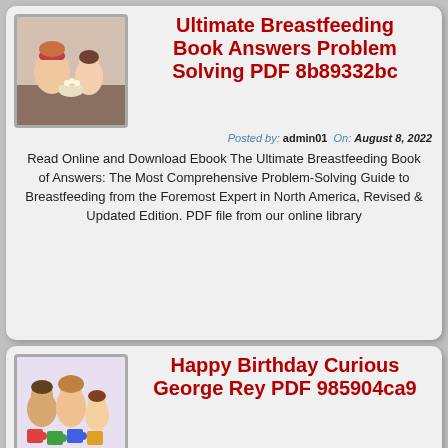[Figure (photo): Woman and child watching something together, possibly snacking]
Ultimate Breastfeeding Book Answers Problem Solving PDF 8b89332bc
Posted by: admin01 On: August 8, 2022
Read Online and Download Ebook The Ultimate Breastfeeding Book of Answers: The Most Comprehensive Problem-Solving Guide to Breastfeeding from the Foremost Expert in North America, Revised & Updated Edition. PDF file from our online library
[Figure (photo): Family with children holding colorful puzzle pieces]
Happy Birthday Curious George Rey PDF 985904ca9
Posted by: admin01 On: August 7, 2022